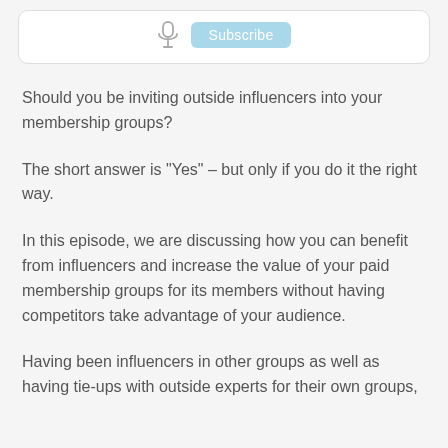[Figure (screenshot): Top widget showing a microphone icon and a Subscribe button with rounded rectangle border]
Should you be inviting outside influencers into your membership groups?
The short answer is "Yes" – but only if you do it the right way.
In this episode, we are discussing how you can benefit from influencers and increase the value of your paid membership groups for its members without having competitors take advantage of your audience.
Having been influencers in other groups as well as having tie-ups with outside experts for their own groups,